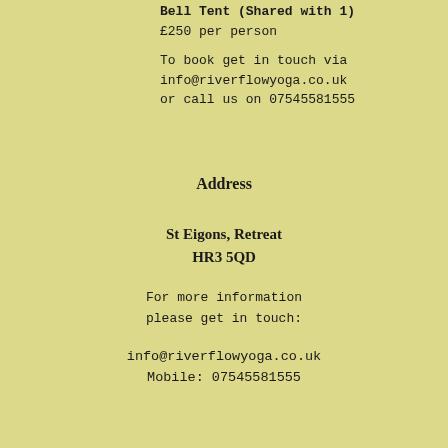Bell Tent (Shared with 1)
£250 per person
To book get in touch via info@riverflowyoga.co.uk or call us on 07545581555
Address
St Eigons, Retreat
HR3 5QD
For more information please get in touch:
info@riverflowyoga.co.uk
Mobile: 07545581555